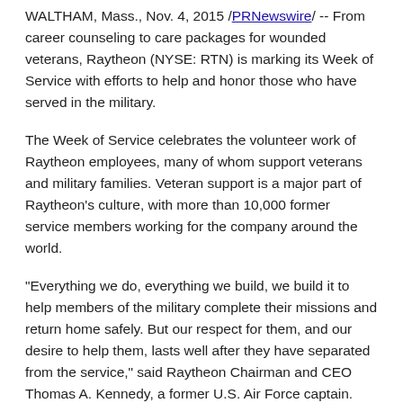WALTHAM, Mass., Nov. 4, 2015 /PRNewswire/ -- From career counseling to care packages for wounded veterans, Raytheon (NYSE: RTN) is marking its Week of Service with efforts to help and honor those who have served in the military.
The Week of Service celebrates the volunteer work of Raytheon employees, many of whom support veterans and military families. Veteran support is a major part of Raytheon's culture, with more than 10,000 former service members working for the company around the world.
"Everything we do, everything we build, we build it to help members of the military complete their missions and return home safely. But our respect for them, and our desire to help them, lasts well after they have separated from the service," said Raytheon Chairman and CEO Thomas A. Kennedy, a former U.S. Air Force captain.